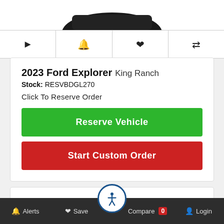[Figure (screenshot): Top portion of a car image (partially visible at top)]
[Figure (infographic): Icon bar with four icons: play, bell, heart, and compare/filter arrows]
2023 Ford Explorer King Ranch
Stock: RESVBDGL270
Click To Reserve Order
Reserve Vehicle
Start Custom Order
Alerts  Save  Compare 0  Login